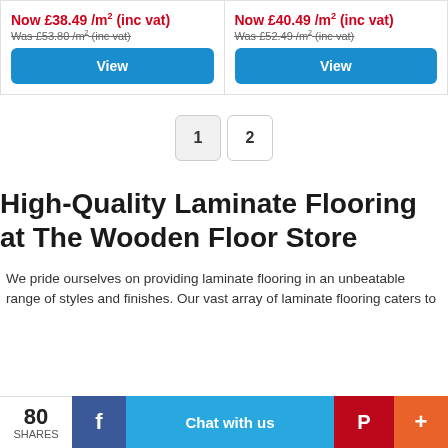Now £38.49 /m² (inc vat)
Was £53.80 /m² (inc vat)
View
Now £40.49 /m² (inc vat)
Was £52.49 /m² (inc vat)
View
1  2
High-Quality Laminate Flooring at The Wooden Floor Store
We pride ourselves on providing laminate flooring in an unbeatable range of styles and finishes. Our vast array of laminate flooring caters to
80 SHARES  f  Chat with us  P  +